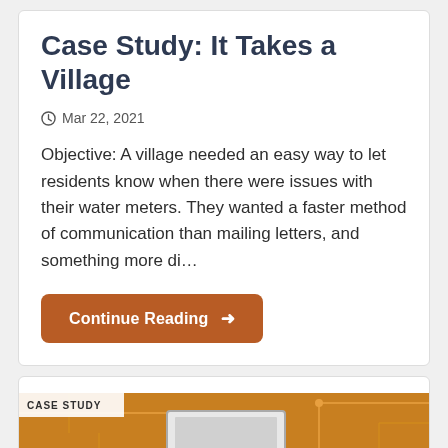Case Study: It Takes a Village
Mar 22, 2021
Objective: A village needed an easy way to let residents know when there were issues with their water meters. They wanted a faster method of communication than mailing letters, and something more di…
Continue Reading →
[Figure (photo): Case study thumbnail image showing a device (router/modem) overlaid on a golden circuit board background, with a 'CASE STUDY' label badge in the upper left corner.]